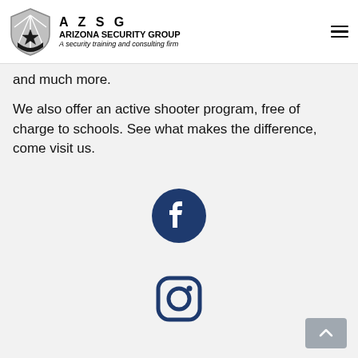AZSG — ARIZONA SECURITY GROUP — A security training and consulting firm
and much more.
We also offer an active shooter program, free of charge to schools. See what makes the difference, come visit us.
[Figure (logo): Facebook circular icon in dark navy blue]
[Figure (logo): Instagram square rounded icon in dark navy blue]